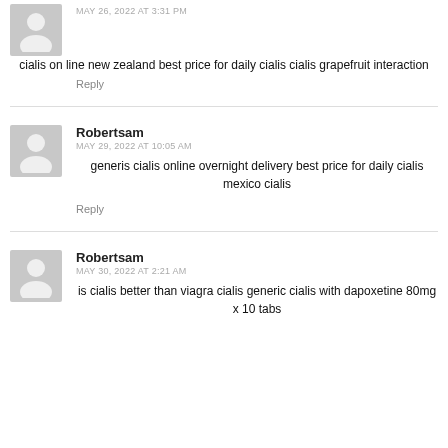cialis on line new zealand best price for daily cialis cialis grapefruit interaction
Reply
Robertsam
MAY 29, 2022 AT 10:05 AM
generis cialis online overnight delivery best price for daily cialis mexico cialis
Reply
Robertsam
MAY 30, 2022 AT 2:21 AM
is cialis better than viagra cialis generic cialis with dapoxetine 80mg x 10 tabs